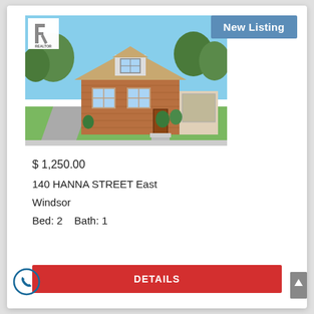[Figure (photo): Exterior photo of a brick bungalow house at 140 Hanna Street East, Windsor, with a driveway, front yard, and trees in background. Realtor logo overlay in top-left corner.]
New Listing
$ 1,250.00
140 HANNA STREET East
Windsor
Bed: 2    Bath: 1
DETAILS